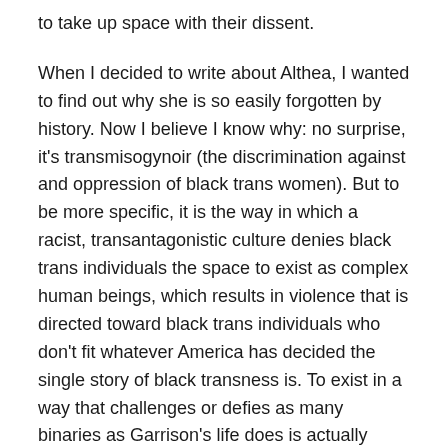to take up space with their dissent.
When I decided to write about Althea, I wanted to find out why she is so easily forgotten by history. Now I believe I know why: no surprise, it's transmisogynoir (the discrimination against and oppression of black trans women). But to be more specific, it is the way in which a racist, transantagonistic culture denies black trans individuals the space to exist as complex human beings, which results in violence that is directed toward black trans individuals who don't fit whatever America has decided the single story of black transness is. To exist in a way that challenges or defies as many binaries as Garrison's life does is actually something that I admire as an individual committed to taking up space in a society that tells me to be small.